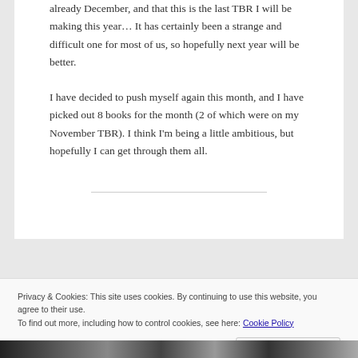already December, and that this is the last TBR I will be making this year… It has certainly been a strange and difficult one for most of us, so hopefully next year will be better.
I have decided to push myself again this month, and I have picked out 8 books for the month (2 of which were on my November TBR). I think I'm being a little ambitious, but hopefully I can get through them all.
Privacy & Cookies: This site uses cookies. By continuing to use this website, you agree to their use.
To find out more, including how to control cookies, see here: Cookie Policy